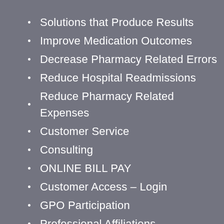Solutions that Produce Results
Improve Medication Outcomes
Decrease Pharmacy Related Errors
Reduce Hospital Readmissions
Reduce Pharmacy Related Expenses
Customer Service
Consulting
ONLINE BILL PAY
Customer Access – Login
GPO Participation
Professional Affiliations
Blog / News